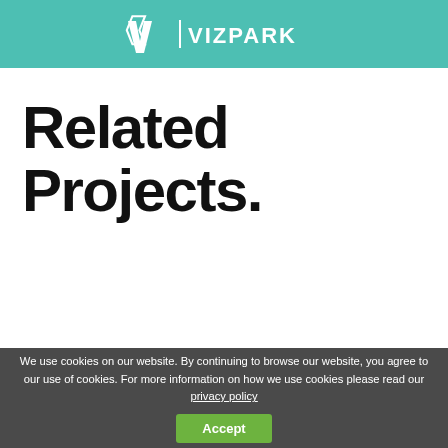VP | VIZPARK
Related Projects.
We use cookies on our website. By continuing to browse our website, you agree to our use of cookies. For more information on how we use cookies please read our privacy policy
Accept